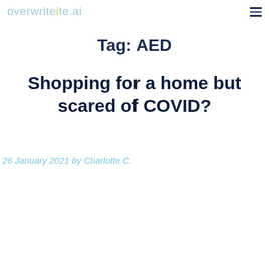overwrite.ai
Tag: AED
Shopping for a home but scared of COVID?
26 January 2021 by Charlotte C.